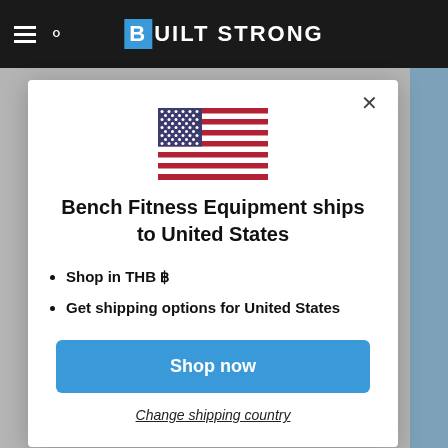BUILT STRONG
[Figure (illustration): US flag SVG]
Bench Fitness Equipment ships to United States
Shop in THB ฿
Get shipping options for United States
Shop now
Change shipping country